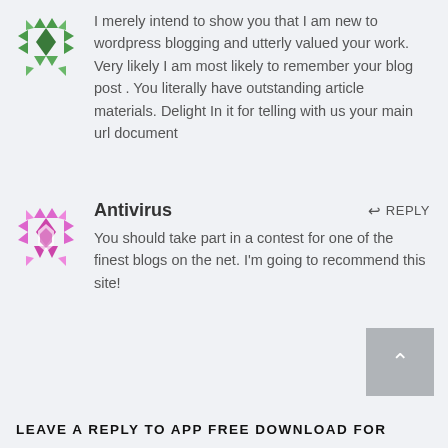I merely intend to show you that I am new to wordpress blogging and utterly valued your work. Very likely I am most likely to remember your blog post . You literally have outstanding article materials. Delight In it for telling with us your main url document
[Figure (illustration): Green geometric snowflake/star avatar icon made of triangles]
[Figure (illustration): Pink/purple geometric snowflake/star avatar icon made of triangles]
Antivirus
REPLY
You should take part in a contest for one of the finest blogs on the net. I'm going to recommend this site!
[Figure (other): Gray scroll-to-top button with upward chevron arrow]
LEAVE A REPLY TO APP FREE DOWNLOAD FOR